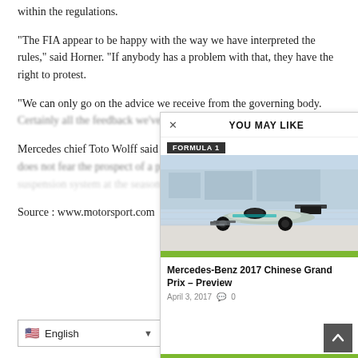within the regulations.
“The FIA appear to be happy with the way we have interpreted the rules,” said Horner. “If anybody has a problem with that, they have the right to protest.
“We can only go on the advice we receive from the governing body. Certainly all the feedback we’ve had has been – [there is] no issue”
Mercedes chief Toto Wolff said he was relaxed about the situation and does not fear the prospect of a potential protest against his team’s suspension system at the season-opening Australian GP.
Source : www.motorsport.com
[Figure (screenshot): YOU MAY LIKE popup overlay showing a Formula 1 article preview: 'Mercedes-Benz 2017 Chinese Grand Prix – Preview', dated April 3, 2017, with a photo of a Mercedes F1 car on track, a green accent bar, and a scroll-up button.]